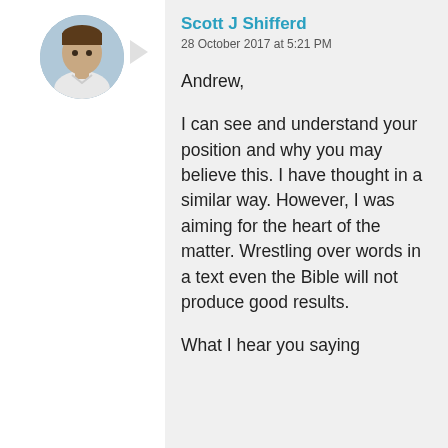[Figure (photo): Circular profile photo of a man in a light-colored shirt, with a speech/chat bubble arrow pointing right toward the comment box]
Scott J Shifferd
28 October 2017 at 5:21 PM
Andrew,

I can see and understand your position and why you may believe this. I have thought in a similar way. However, I was aiming for the heart of the matter. Wrestling over words in a text even the Bible will not produce good results.

What I hear you saying